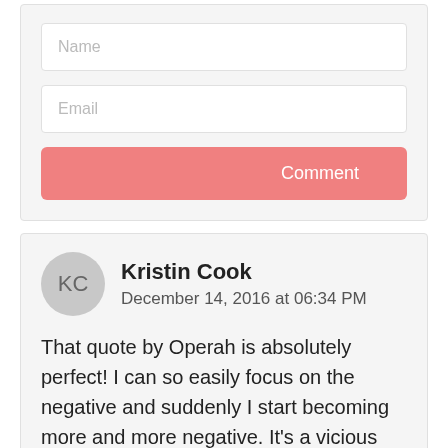[Figure (screenshot): Comment form with Name and Email input fields and a Comment button]
Kristin Cook
December 14, 2016 at 06:34 PM
That quote by Operah is absolutely perfect! I can so easily focus on the negative and suddenly I start becoming more and more negative. It's a vicious cycle.